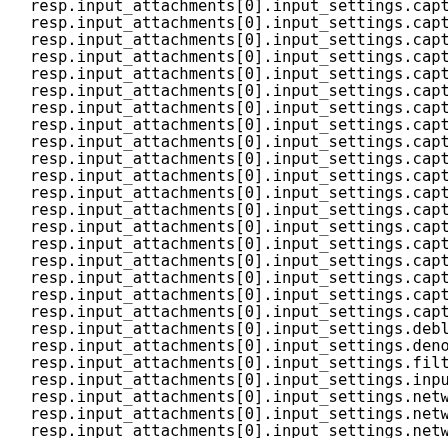resp.input_attachments[0].input_settings.caption (repeated lines) resp.input_attachments[0].input_settings.deblock resp.input_attachments[0].input_settings.denoise resp.input_attachments[0].input_settings.filter_ resp.input_attachments[0].input_settings.input_f resp.input_attachments[0].input_settings.network resp.input_attachments[0].input_settings.network resp.input_attachments[0].input_settings.network